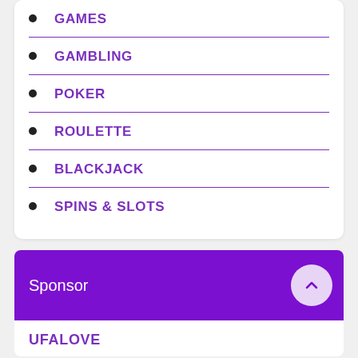GAMES
GAMBLING
POKER
ROULETTE
BLACKJACK
SPINS & SLOTS
Sponsor
UFALOVE